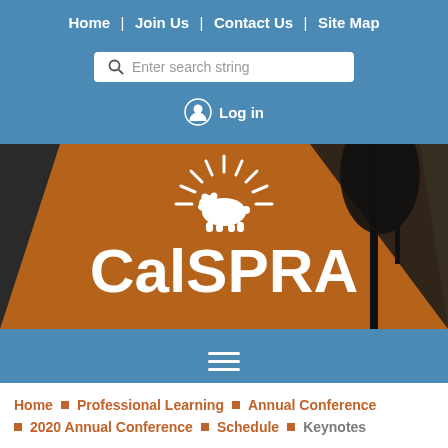Home | Join Us | Contact Us | Site Map
Enter search string
Log in
[Figure (logo): CalSPRA logo banner with bear and sunburst on orange diagonal background with California landscape silhouette]
≡ (hamburger menu icon)
Home ▪ Professional Learning ▪ Annual Conference ▪ 2020 Annual Conference ▪ Schedule ▪ Keynotes